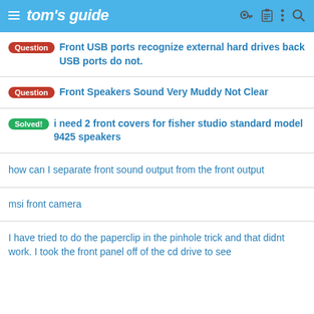tom's guide
Question  Front USB ports recognize external hard drives back USB ports do not.
Question  Front Speakers Sound Very Muddy Not Clear
Solved!  i need 2 front covers for fisher studio standard model 9425 speakers
how can I separate front sound output from the front output
msi front camera
I have tried to do the paperclip in the pinhole trick and that didnt work. I took the front panel off of the cd drive to see